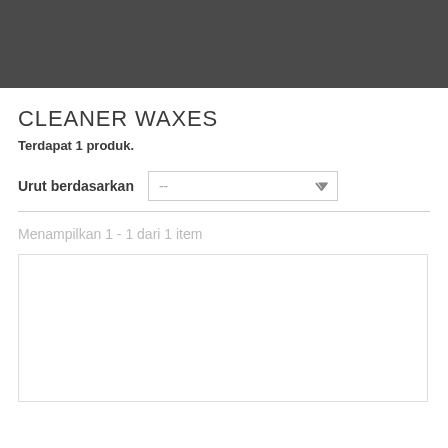[Figure (other): Dark gray header banner bar]
CLEANER WAXES
Terdapat 1 produk.
Urut berdasarkan  --
Menampilkan 1 - 1 dari 1 item
[Figure (other): Empty product card box with border]